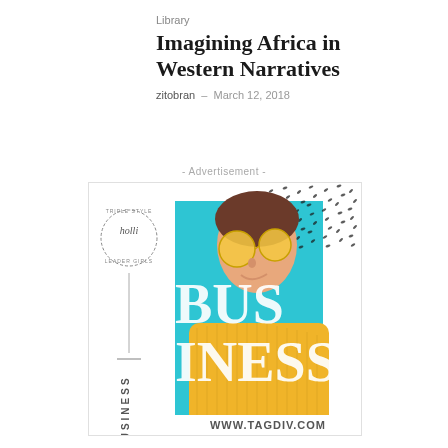Library
Imagining Africa in Western Narratives
zitobran  –  March 12, 2018
- Advertisement -
[Figure (illustration): Advertisement banner for www.tagdiv.com featuring a stylized business theme. Shows a young woman with yellow sunglasses and yellow sweater against a cyan/turquoise background with large white text reading 'BUSINESS'. Left side has a circular logo with 'holli' text and a vertical line with 'BUSINESS' written vertically. Top right corner has a black and white scattered pattern. Bottom right shows 'WWW.TAGDIV.COM'.]